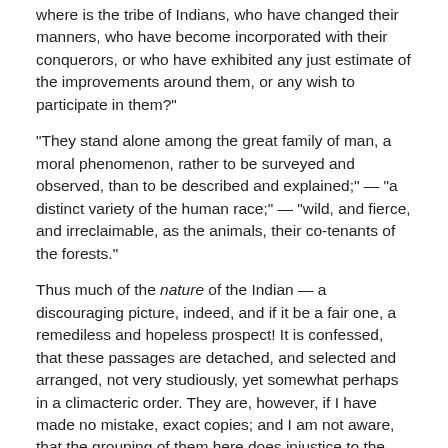where is the tribe of Indians, who have changed their manners, who have become incorporated with their conquerors, or who have exhibited any just estimate of the improvements around them, or any wish to participate in them?"
"They stand alone among the great family of man, a moral phenomenon, rather to be surveyed and observed, than to be described and explained;" — "a distinct variety of the human race;" — "wild, and fierce, and irreclaimable, as the animals, their co-tenants of the forests."
Thus much of the nature of the Indian — a discouraging picture, indeed, and if it be a fair one, a remediless and hopeless prospect! It is confessed, that these passages are detached, and selected and arranged, not very studiously, yet somewhat perhaps in a climacteric order. They are, however, if I have made no mistake, exact copies; and I am not aware, that the grouping of them here does injustice to the current of the text. They only express and support my impressions.
And really, I know not in what terms to express my astonishment at these statements. My readers will not have forgotten the Stock-bridge tribe, and the other New York Indians,
50